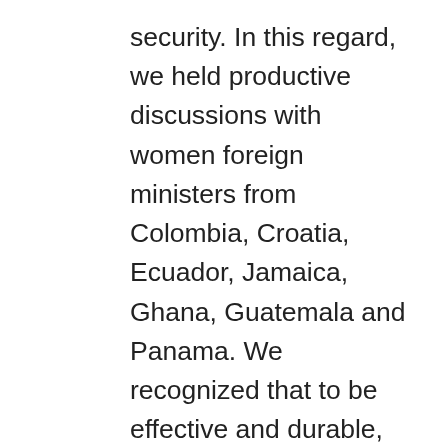security. In this regard, we held productive discussions with women foreign ministers from Colombia, Croatia, Ecuador, Jamaica, Ghana, Guatemala and Panama. We recognized that to be effective and durable, initiatives addressing peace and security challenges need to support women's equal and meaningful participation at all levels of decision-making processes, address women's and girls' needs and respect their rights, including their security and safety, and facilitate their access to and control of resources and